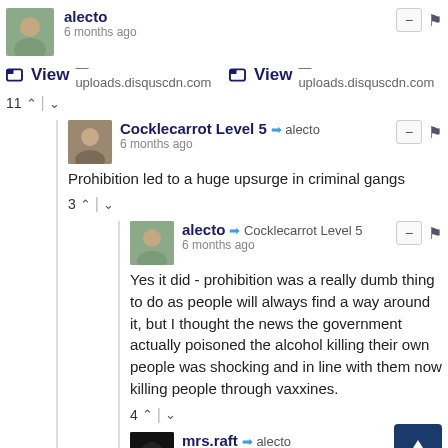alecto — 6 months ago
View — uploads.disquscdn.com  View — uploads.disquscdn.com
11 ↑ | ↓
Cocklecarrot Level 5 → alecto — 6 months ago
Prohibition led to a huge upsurge in criminal gangs
3 ↑ | ↓
alecto → Cocklecarrot Level 5 — 6 months ago
Yes it did - prohibition was a really dumb thing to do as people will always find a way around it, but I thought the news the government actually poisoned the alcohol killing their own people was shocking and in line with them now killing people through vaxxines.
4 ↑ | ↓
mrs.raft → alecto — 6 months ago